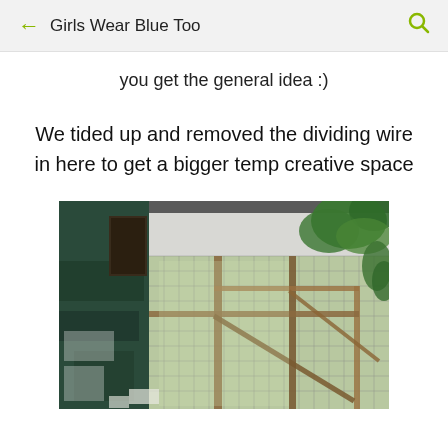Girls Wear Blue Too
you get the general idea :)
We tided up and removed the dividing wire in here to get a bigger temp creative space
[Figure (photo): Interior of a large wire and wood enclosure or aviary, with green plants visible on the right, wire mesh walls and ceiling, wooden frame structures, and a dark green painted wall on the left. Natural light comes through the wire mesh.]